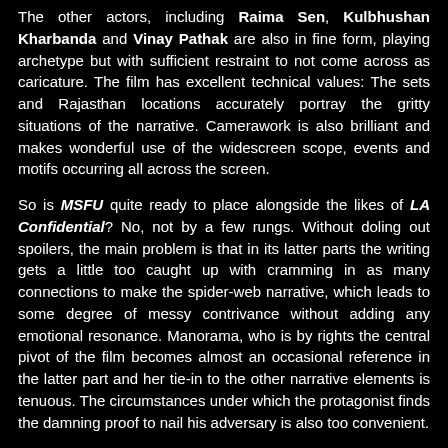The other actors, including Raima Sen, Kulbhushan Kharbanda and Vinay Pathak are also in fine form, playing archetype but with sufficient restraint to not come across as caricature. The film has excellent technical values: The sets and Rajasthan locations accurately portray the gritty situations of the narrative. Camerawork is also brilliant and makes wonderful use of the widescreen scope, events and motifs occurring all across the screen.
So is MSFU quite ready to place alongside the likes of LA Confidential? No, not by a few rungs. Without doling out spoilers, the main problem is that in its latter parts the writing gets a little too caught up with cramming in as many connections to make the spider-web narrative, which leads to some degree of messy contrivance without adding any emotional resonance. Manorama, who is by rights the central pivot of the film becomes almost an occasional reference in the latter part and her tie-in to the other narrative elements is tenuous. The circumstances under which the protagonist finds the damning proof to nail his adversary is also too convenient.